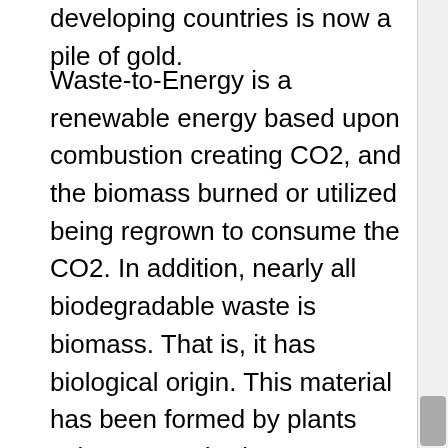developing countries is now a pile of gold.
Waste-to-Energy is a renewable energy based upon combustion creating CO2, and the biomass burned or utilized being regrown to consume the CO2. In addition, nearly all biodegradable waste is biomass. That is, it has biological origin. This material has been formed by plants using atmospheric CO2 typically within the last growing season. If these plants are regrown the CO2 emitted from their combustion will be taken out from the atmosphere once more. Greenwave Bio has also been exploring the opportunity to reforest within the regions of operation to counter any effects of potential CO2. Biomass is considered to be carbon-neutral since the CO2 liberated from the combustion of biomass is recycled in plants. The biomass fraction has a monetary